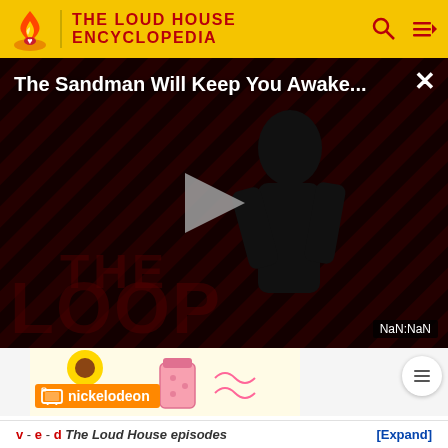THE LOUD HOUSE ENCYCLOPEDIA
[Figure (screenshot): Video player showing 'The Sandman Will Keep You Awake...' with a dark-themed thumbnail featuring a figure in black against diagonal striped background. A play button is centered. 'NaN:NaN' timer shown bottom right. THE LOOP watermark visible.]
[Figure (screenshot): Nickelodeon branded thumbnail strip showing animated art with a jar and sunflower, with orange Nickelodeon TV logo label]
v - e - d The Loud House episodes [Expand]